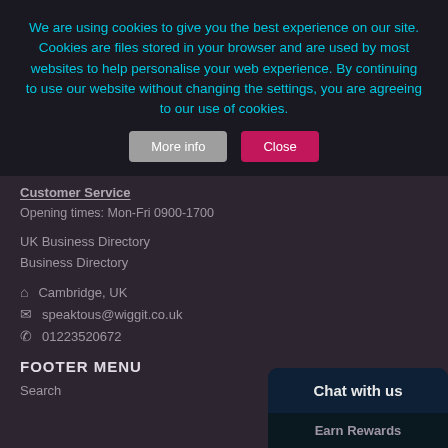ABOUT WIGGIT
WIGgIT … opportunity to feel … companies … places are suitable for … businesses … !
We are using cookies to give you the best experience on our site. Cookies are files stored in your browser and are used by most websites to help personalise your web experience. By continuing to use our website without changing the settings, you are agreeing to our use of cookies. [More info] [Close]
Customer Service
Opening times: Mon-Fri 0900-1700
UK Business Directory
Business Directory
Cambridge, UK
speaktous@wiggit.co.uk
01223520672
FOOTER MENU
Search
Chat with us
Earn Rewards